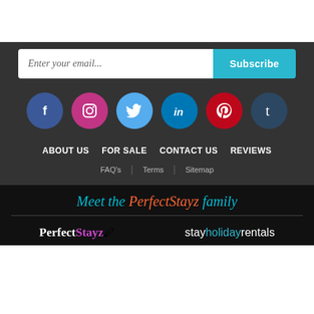[Figure (screenshot): Email subscription input field with 'Enter your email...' placeholder and a cyan 'Subscribe' button]
[Figure (infographic): Row of six social media icons: Facebook (blue), Instagram (purple/pink), Twitter (light blue), LinkedIn (dark blue), Pinterest (red), Tumblr (dark navy)]
ABOUT US   FOR SALE   CONTACT US   REVIEWS
FAQ's | Terms | Sitemap
Meet the PerfectStayz family
[Figure (logo): Perfect Stayz logo — 'Perfect' in white bold, 'Stayz' in purple with a small icon]
[Figure (logo): stayholidayrentals logo — 'stay' in white, 'holiday' in cyan, 'rentals' in white]